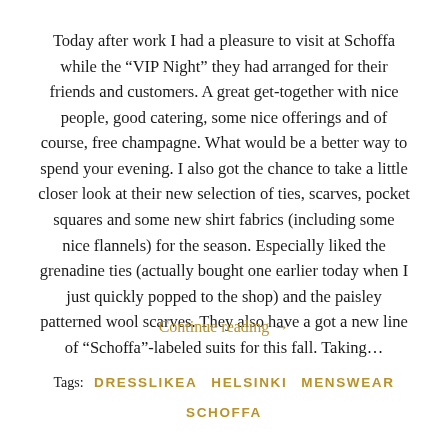Today after work I had a pleasure to visit at Schoffa while the “VIP Night” they had arranged for their friends and customers. A great get-together with nice people, good catering, some nice offerings and of course, free champagne. What would be a better way to spend your evening. I also got the chance to take a little closer look at their new selection of ties, scarves, pocket squares and some new shirt fabrics (including some nice flannels) for the season. Especially liked the grenadine ties (actually bought one earlier today when I just quickly popped to the shop) and the paisley patterned wool scarves. They also have a got a new line of “Schoffa”-labeled suits for this fall. Taking…
Continue reading →
Tags: DRESSLIKEA  HELSINKI  MENSWEAR  SCHOFFA